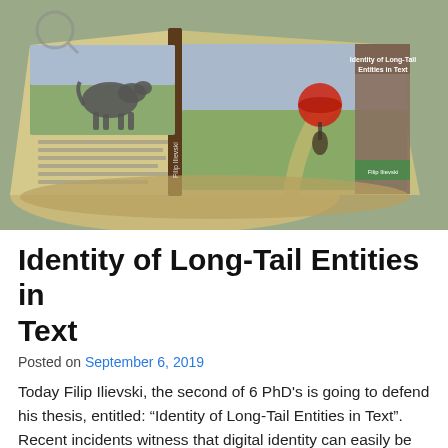[Figure (photo): Open book with surreal illustration: left page shows a large dog on grass with text, right page shows a girl with red umbrella walking a winding road. Book cover visible on right side reads 'Identity of Long-Tail Entities in Text' by Filip Ilievski.]
Identity of Long-Tail Entities in Text
Posted on September 6, 2019
Today Filip Ilievski, the second of 6 PhD's is going to defend his thesis, entitled: “Identity of Long-Tail Entities in Text”. Recent incidents witness that digital identity can easily be confused, stolen, or abused. Consider, for instance, the case of the former Brittish MP, Lord Alistair McAlpine, who was